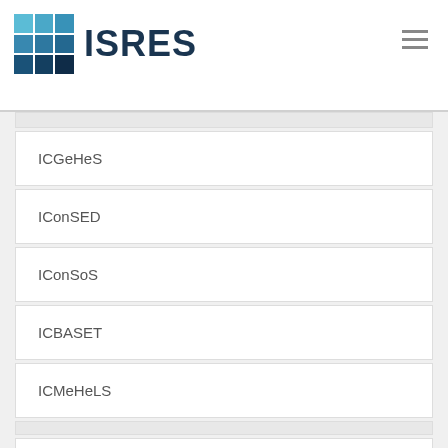ISRES
ICGeHeS
IConSED
IConSoS
ICBASET
ICMeHeLS
Journals